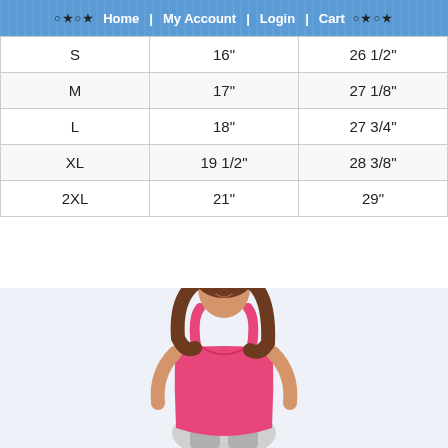○ ★ ○ ★  Home | My Account | Login | Cart  ○ ★ ○ ★
| S | 16" | 26 1/2" |
| M | 17" | 27 1/8" |
| L | 18" | 27 3/4" |
| XL | 19 1/2" | 28 3/8" |
| 2XL | 21" | 29" |
[Figure (photo): Woman wearing a pink tank top, smiling, with brown hair]